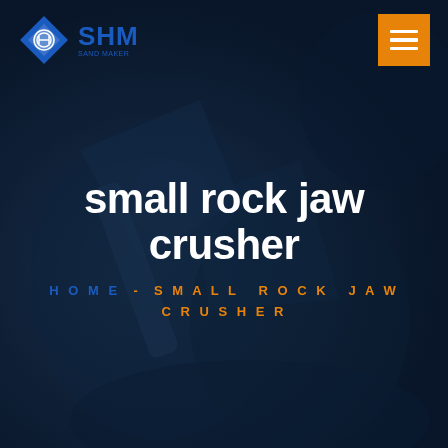[Figure (screenshot): SHM company website hero section screenshot with dark navy background showing a jaw crusher machine silhouette. Header with SHM logo (blue diamond icon and SHM text) on left and orange hamburger menu button on right. Center text reads 'small rock jaw crusher' in bold white, below it breadcrumb navigation 'HOME - SMALL ROCK JAW CRUSHER' in blue and orange spaced uppercase letters.]
SHM
small rock jaw crusher
HOME - SMALL ROCK JAW CRUSHER